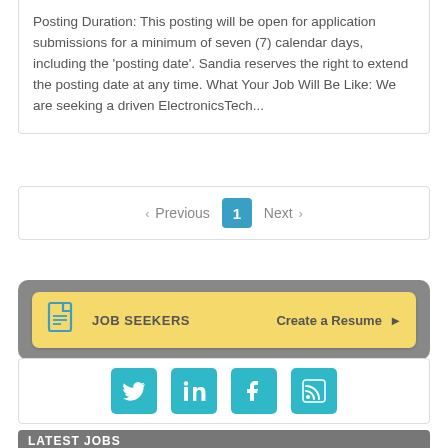Posting Duration: This posting will be open for application submissions for a minimum of seven (7) calendar days, including the 'posting date'. Sandia reserves the right to extend the posting date at any time. What Your Job Will Be Like: We are seeking a driven ElectronicsTech...
< Previous  1  Next >
[Figure (infographic): Job Seekers banner with document icon, label 'JOB SEEKERS', and 'Create a Resume' action with right arrow, on yellow background inside gray rounded box]
[Figure (infographic): Social media icons: Twitter, LinkedIn, Facebook, RSS feed — teal colored square icons]
LATEST JOBS